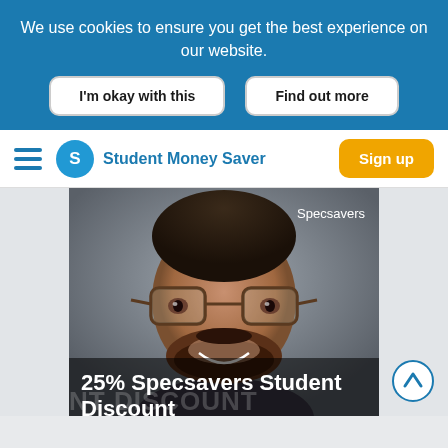We use cookies to ensure you get the best experience on our website.
I'm okay with this
Find out more
Student Money Saver
Sign up
[Figure (photo): Smiling man wearing glasses, advertising Specsavers student discount. Text overlay reads: '25% Specsavers Student Discount' with watermark text 'NT DISCOUNT' in background.]
Specsavers
25% Specsavers Student Discount